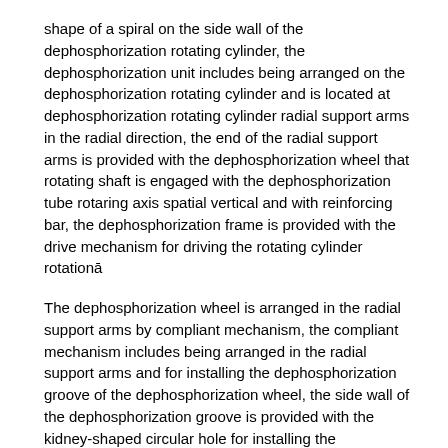shape of a spiral on the side wall of the dephosphorization rotating cylinder, the dephosphorization unit includes being arranged on the dephosphorization rotating cylinder and is located at dephosphorization rotating cylinder radial support arms in the radial direction, the end of the radial support arms is provided with the dephosphorization wheel that rotating shaft is engaged with the dephosphorization tube rotaring axis spatial vertical and with reinforcing bar, the dephosphorization frame is provided with the drive mechanism for driving the rotating cylinder rotationā
The dephosphorization wheel is arranged in the radial support arms by compliant mechanism, the compliant mechanism includes being arranged in the radial support arms and for installing the dephosphorization groove of the dephosphorization wheel, the side wall of the dephosphorization groove is provided with the kidney-shaped circular hole for installing the dephosphorization wheel rotating shaft, and the bottom land of the dephosphorization groove is provided with blind hole, the blind hole is provided with the assembling fork being slidably matched with it, the assembling fork is fixedly connected with the dephosphorization wheel rotating